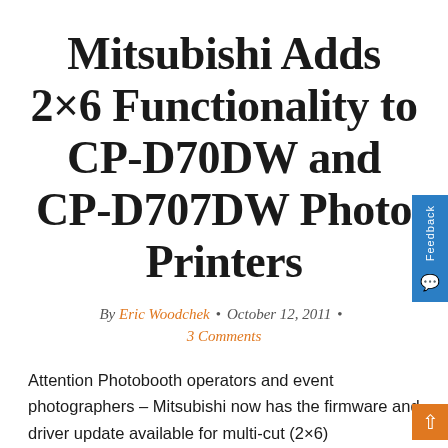Mitsubishi Adds 2×6 Functionality to CP-D70DW and CP-D707DW Photo Printers
By Eric Woodchek · October 12, 2011 · 3 Comments
Attention Photobooth operators and event photographers – Mitsubishi now has the firmware and driver update available for multi-cut (2×6) functionality for the CP-D70DW and CP-D707DW photo printers. If you own one of these printers and would like this